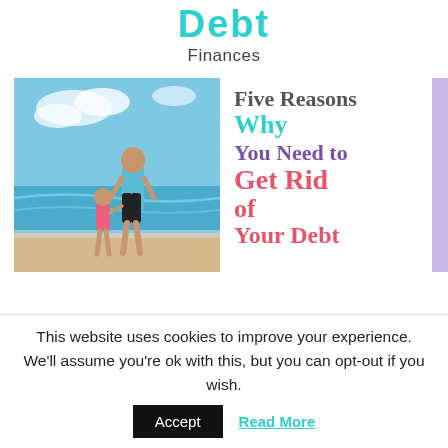Debt
Finances
[Figure (illustration): Composite article thumbnail: left side shows a photo of a father and young child walking on the beach at the shoreline; right side shows the article title text 'Five Reasons Why You Need to Get Rid of Your Debt' in multiple colors (gray, cyan, purple, red/pink).]
This website uses cookies to improve your experience. We'll assume you're ok with this, but you can opt-out if you wish.
Accept
Read More